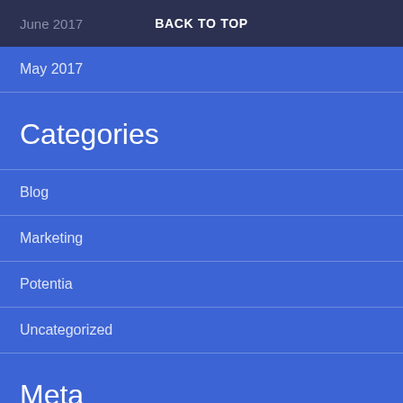June 2017
BACK TO TOP
May 2017
Categories
Blog
Marketing
Potentia
Uncategorized
Meta